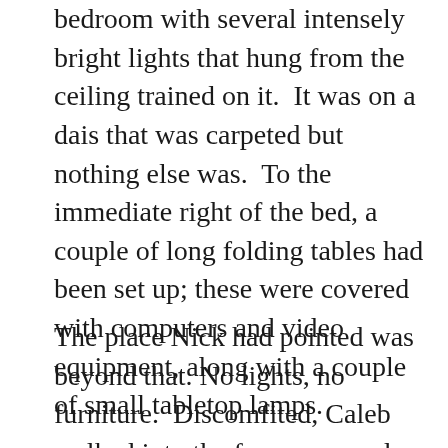bedroom with several intensely bright lights that hung from the ceiling trained on it.  It was on a dais that was carpeted but nothing else was.  To the immediate right of the bed, a couple of long folding tables had been set up; these were covered with computers and video equipment, along with a couple of small tabletop lamps.
The place Nick had pointed was beyond that. No lights, no furniture.  Discomfited, Caleb walked into the far corner and pulled his boots off, leaving Nick and Carlos to converse